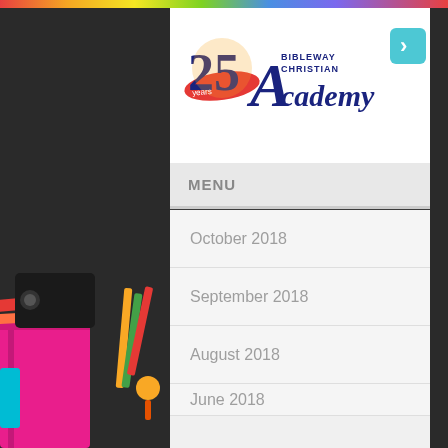[Figure (logo): Bibleway Christian Academy logo with 25 years anniversary badge and teal arrow button]
MENU
October 2018
September 2018
August 2018
June 2018
May 2018
April 2018